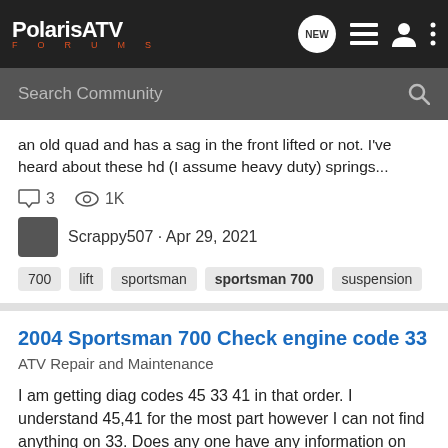PolarisATV FORUMS
Search Community
an old quad and has a sag in the front lifted or not. I've heard about these hd (I assume heavy duty) springs...
3  1K  Scrappy507 · Apr 29, 2021  700  lift  sportsman  sportsman 700  suspension
2004 Sportsman 700 Check engine code 33
ATV Repair and Maintenance
I am getting diag codes 45 33 41 in that order. I understand 45,41 for the most part however I can not find anything on 33. Does any one have any information on the 33 code or could it possibly just be attached with the 45/41. Heading out to the garage now to work on that tbap and pull it...